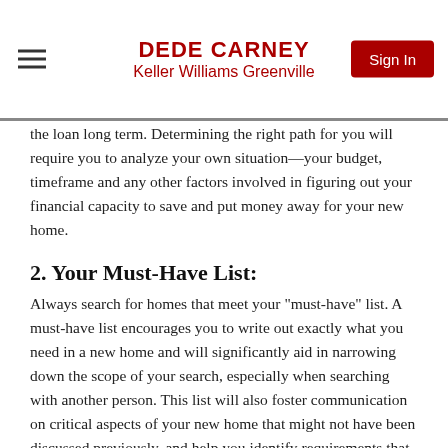DEDE CARNEY
Keller Williams Greenville
the loan long term. Determining the right path for you will require you to analyze your own situation—your budget, timeframe and any other factors involved in figuring out your financial capacity to save and put money away for your new home.
2. Your Must-Have List:
Always search for homes that meet your "must-have" list. A must-have list encourages you to write out exactly what you need in a new home and will significantly aid in narrowing down the scope of your search, especially when searching with another person. This list will also foster communication on critical aspects of your new home that might not have been discussed previously, and help you identify requirements that may be in conflict with each other.